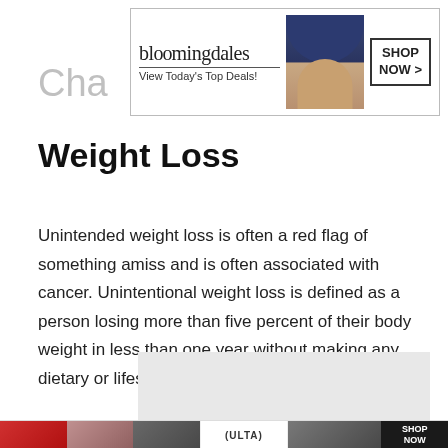[Figure (screenshot): Bloomingdales advertisement banner: 'bloomingdales / View Today's Top Deals!' with a model in a blue hat and 'SHOP NOW >' button]
Cha… y
Weight Loss
Unintended weight loss is often a red flag of something amiss and is often associated with cancer. Unintentional weight loss is defined as a person losing more than five percent of their body weight in less than one year without making any dietary or lifestyle changes.
[Figure (screenshot): Gray placeholder image area followed by a beauty advertisement strip with a close button, '22' badge, and colorful model images]
[Figure (screenshot): Ulta Beauty advertisement strip with model photos, Ulta logo, and 'SHOP NOW' button]